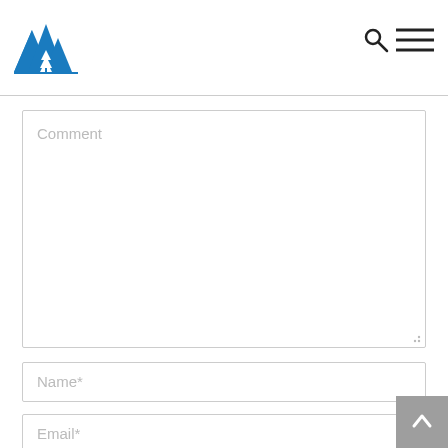[Figure (logo): Blue mountain/forest logo with two large peaks and a tree, triangular style]
[Figure (other): Search (magnifying glass) icon in top right header area]
[Figure (other): Hamburger menu (three horizontal lines) icon in top right header area]
Comment
Name*
Email*
Website